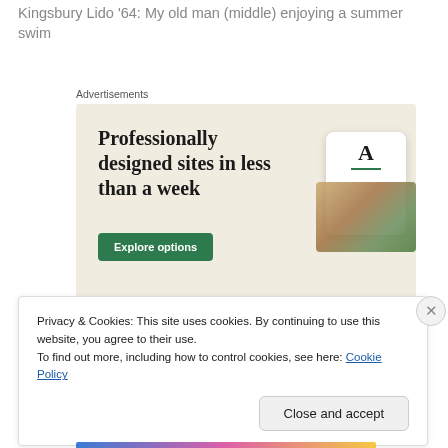Kingsbury Lido '64: My old man (middle) enjoying a summer swim
[Figure (screenshot): Advertisement banner with beige background showing 'Professionally designed sites in less than a week' with a green 'Explore options' button and website mockup imagery on the right]
Privacy & Cookies: This site uses cookies. By continuing to use this website, you agree to their use.
To find out more, including how to control cookies, see here: Cookie Policy